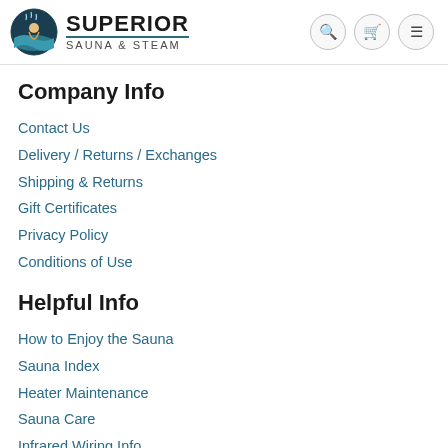Superior Sauna & Steam
Company Info
Contact Us
Delivery / Returns / Exchanges
Shipping & Returns
Gift Certificates
Privacy Policy
Conditions of Use
Helpful Info
How to Enjoy the Sauna
Sauna Index
Heater Maintenance
Sauna Care
Infrared Wiring Info